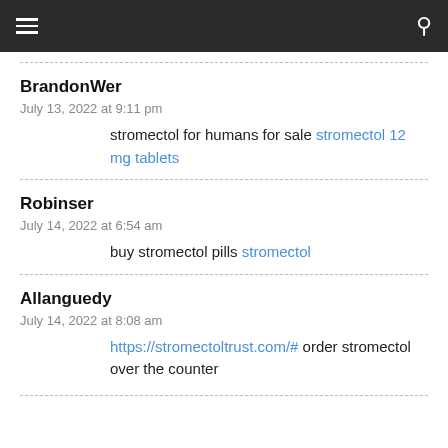Navigation bar with hamburger menu and search icon
BrandonWer
July 13, 2022 at 9:11 pm
stromectol for humans for sale stromectol 12 mg tablets
Robinser
July 14, 2022 at 6:54 am
buy stromectol pills stromectol
Allanguedy
July 14, 2022 at 8:08 am
https://stromectoltrust.com/# order stromectol over the counter